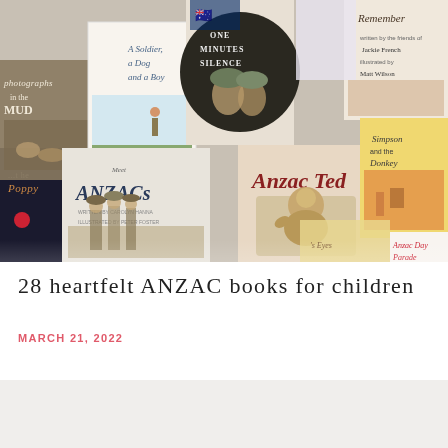[Figure (photo): Collage of ANZAC-themed children's book covers including titles such as 'Anzac Ted', 'One Minute's Silence', 'A Soldier, a Dog and a Boy', 'Simpson and the Donkey', 'Meet The ANZACs', 'Anzac Day Parade', 'Photographs in the Mud', and others arranged in an overlapping mosaic layout.]
28 heartfelt ANZAC books for children
MARCH 21, 2022